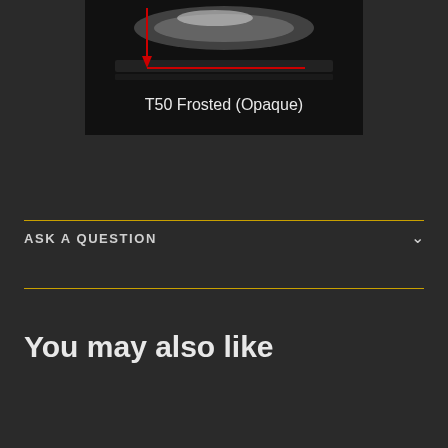[Figure (photo): A dark/black background image showing a glass or lens element labeled 'T50 Frosted (Opaque)' with a red arrow and red horizontal line annotation pointing downward to the frosted surface.]
ASK A QUESTION
You may also like